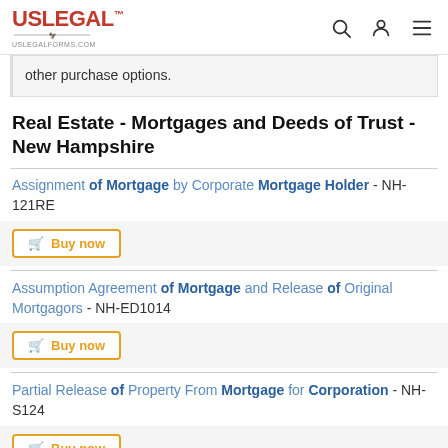USLegal - uslegalforms.com
other purchase options.
Real Estate - Mortgages and Deeds of Trust - New Hampshire
Assignment of Mortgage by Corporate Mortgage Holder - NH-121RE
Assumption Agreement of Mortgage and Release of Original Mortgagors - NH-ED1014
Partial Release of Property From Mortgage for Corporation - NH-S124